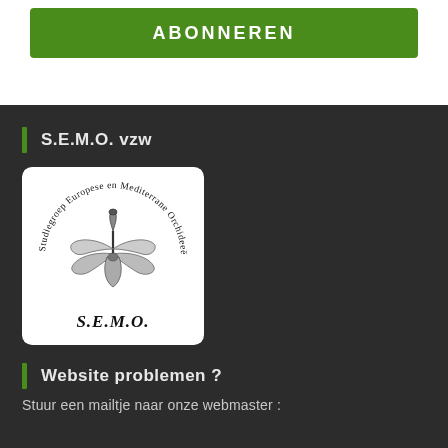[Figure (other): Green ABONNEREN (subscribe) button]
S.E.M.O. vzw
[Figure (logo): S.E.M.O. logo: circular text reading 'Studiegroep Europese en Mediterrane Orchideeën vzw' around an orchid illustration, with 'S.E.M.O.' text below]
Website problemen ?
Stuur een mailtje naar onze webmaster :